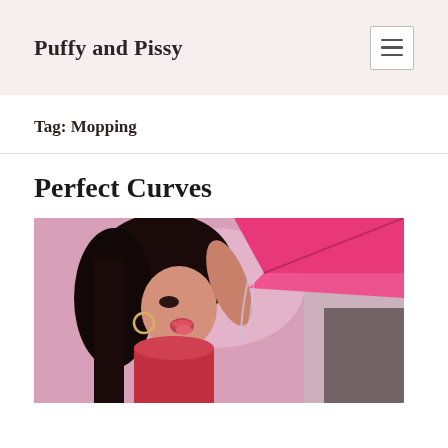Puffy and Pissy
Tag: Mopping
Perfect Curves
[Figure (photo): Woman with dark hair in red top holding a pink yoga mat, with floral background]